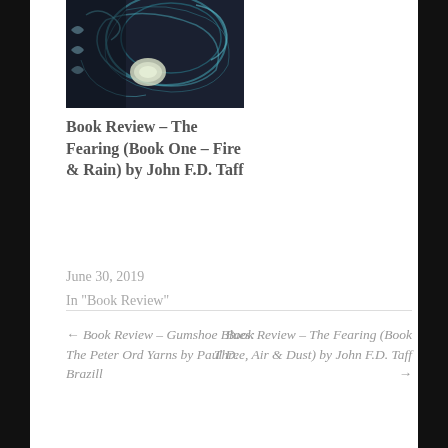[Figure (illustration): Book cover image for 'The Fearing (Book One – Fire & Rain)' showing dark, atmospheric artwork with swirling patterns and a glowing orb]
Book Review – The Fearing (Book One – Fire & Rain) by John F.D. Taff
June 30, 2019
In "Book Review"
← Book Review – Gumshoe Blues: The Peter Ord Yarns by Paul D. Brazill
Book Review – The Fearing (Book Three, Air & Dust) by John F.D. Taff →